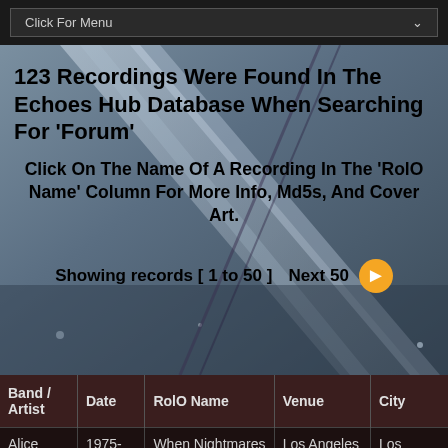Click For Menu
123 Recordings Were Found In The Echoes Hub Database When Searching For 'Forum'
Click On The Name Of A Recording In The 'RolO Name' Column For More Info, Md5s, And Cover Art.
Showing records [ 1 to 50 ]   Next 50
| Band / Artist | Date | RolO Name | Venue | City |
| --- | --- | --- | --- | --- |
| Alice Cooper | 1975-06-17 | When Nightmares Turn Into | Los Angeles Forum | Los Angeles |